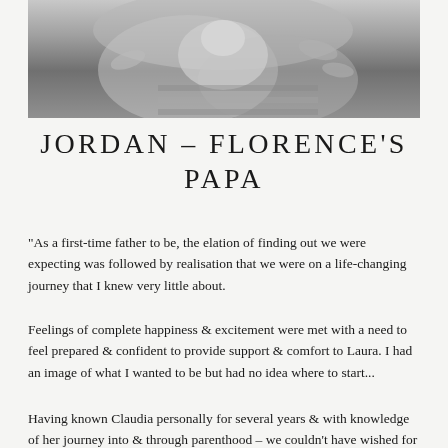[Figure (photo): Black and white photograph of hands holding a newborn baby]
JORDAN – FLORENCE'S PAPA
“As a first-time father to be, the elation of finding out we were expecting was followed by realisation that we were on a life-changing journey that I knew very little about.
Feelings of complete happiness & excitement were met with a need to feel prepared & confident to provide support & comfort to Laura. I had an image of what I wanted to be but had no idea where to start...
Having known Claudia personally for several years & with knowledge of her journey into & through parenthood – we couldn’t have wished for better support & guidance into our birth